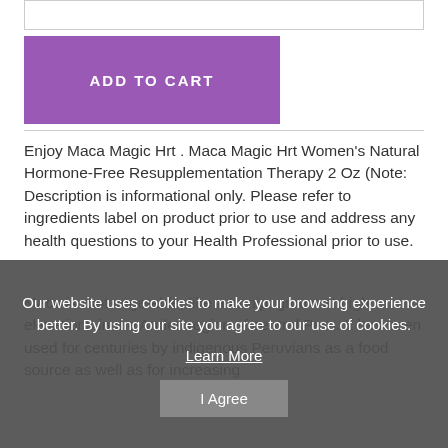[Figure (other): Input/quantity field box at top of page]
ADD TO CART
Enjoy Maca Magic Hrt . Maca Magic Hrt Women's Natural Hormone-Free Resupplementation Therapy 2 Oz (Note: Description is informational only. Please refer to ingredients label on product prior to use and address any health questions to your Health Professional prior to use.
Maca is root vegetable, like a turnip, grown at high elevations in the Andes region of central Peru. It has been used for centuries by indigenous Peruvians as a food source as well as for increasing
Our website uses cookies to make your browsing experience better. By using our site you agree to our use of cookies.
Learn More
I Agree